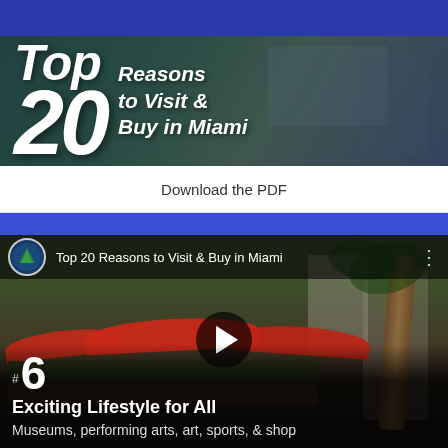[Figure (illustration): Blue horizontal bar at top of page]
[Figure (illustration): Banner image with aerial/cityscape background showing text: Top 20 Reasons to Visit & Buy in Miami]
Download the PDF
[Figure (illustration): Blue horizontal separator bar]
[Figure (screenshot): Video thumbnail showing outdoor restaurant/cafe with red umbrellas and palm trees. Top bar shows logo and title 'Top 20 Reasons to Visit & Buy in Miami'. Play button in center. Bottom overlay shows #6 Exciting Lifestyle for All - Museums, performing arts, art, sports, & shop]